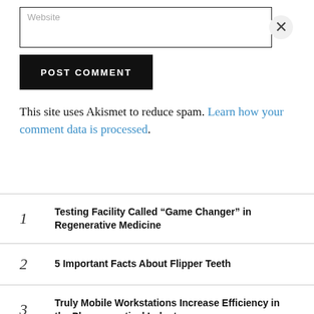Website
POST COMMENT
This site uses Akismet to reduce spam. Learn how your comment data is processed.
1 Testing Facility Called “Game Changer” in Regenerative Medicine
2 5 Important Facts About Flipper Teeth
3 Truly Mobile Workstations Increase Efficiency in the Pharmaceutical Industry